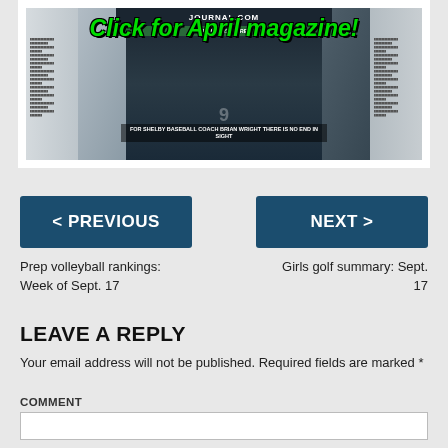[Figure (photo): Magazine banner advertisement showing 'Click for April magazine!' text in green over a collage of newspaper/magazine pages and sports photos including a baseball coach. Text overlay reads 'FOR SHELBY BASEBALL COACH BRIAN WRIGHT THERE IS NO END IN SIGHT']
< PREVIOUS
NEXT >
Prep volleyball rankings: Week of Sept. 17
Girls golf summary: Sept. 17
LEAVE A REPLY
Your email address will not be published. Required fields are marked *
COMMENT